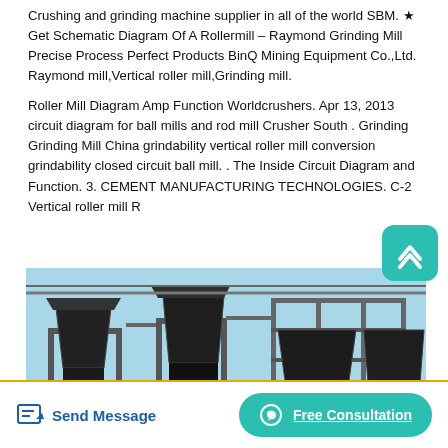Crushing and grinding machine supplier in all of the world SBM. ★ Get Schematic Diagram Of A Rollermill – Raymond Grinding Mill Precise Process Perfect Products BinQ Mining Equipment Co.,Ltd. Raymond mill,Vertical roller mill,Grinding mill.
Roller Mill Diagram Amp Function Worldcrushers. Apr 13, 2013 circuit diagram for ball mills and rod mill Crusher South . Grinding Grinding Mill China grindability vertical roller mill conversion grindability closed circuit ball mill. . The Inside Circuit Diagram and Function. 3. CEMENT MANUFACTURING TECHNOLOGIES. C-2 Vertical roller mill R...
[Figure (photo): Industrial crushing and grinding machinery — large dark metal hoppers/bins mounted on steel frames outdoors, with conveyors and piping, against a light blue sky.]